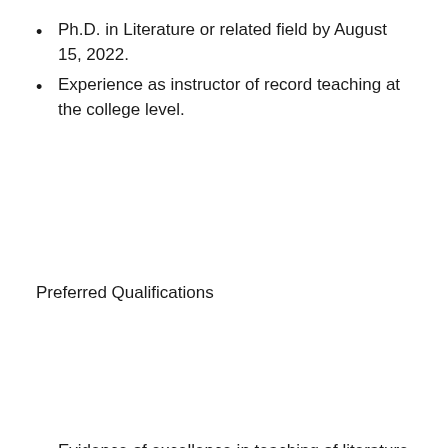Ph.D. in Literature or related field by August 15, 2022.
Experience as instructor of record teaching at the college level.
Preferred Qualifications
Evidence of excellence in teaching of literature at the undergraduate and graduate levels.
Evidence of research in Shakespeare.
Evidence of excellence in teaching in Shakespeare and drama.